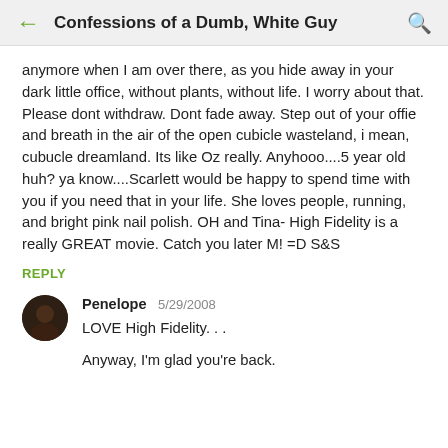Confessions of a Dumb, White Guy
anymore when I am over there, as you hide away in your dark little office, without plants, without life. I worry about that. Please dont withdraw. Dont fade away. Step out of your offie and breath in the air of the open cubicle wasteland, i mean, cubucle dreamland. Its like Oz really. Anyhooo....5 year old huh? ya know....Scarlett would be happy to spend time with you if you need that in your life. She loves people, running, and bright pink nail polish. OH and Tina- High Fidelity is a really GREAT movie. Catch you later M! =D S&S
REPLY
Penelope 5/29/2008
LOVE High Fidelity. . .
Anyway, I'm glad you're back.